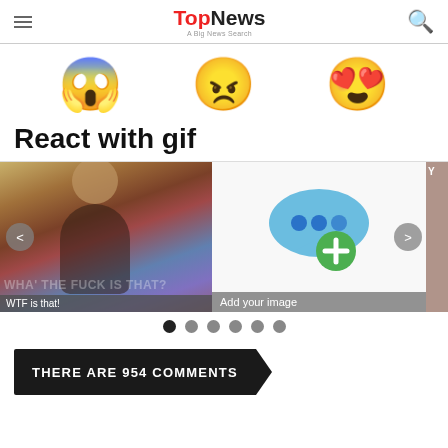TopNews — A Big News Search
[Figure (illustration): Three emoji faces: screaming face with hands, angry face, heart-eyes face]
React with gif
[Figure (screenshot): GIF carousel with left arrow, right arrow, WTF is that meme image on the left, chat bubbles with Add your image on the right, navigation dots below]
THERE ARE 954 COMMENTS